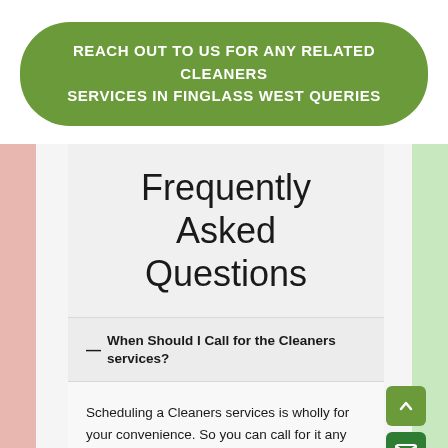REACH OUT TO US FOR ANY RELATED CLEANERS SERVICES IN FINGLASS WEST QUERIES
Frequently Asked Questions
— When Should I Call for the Cleaners services?
Scheduling a Cleaners services is wholly for your convenience. So you can call for it any time that you need help with the cleaning. However